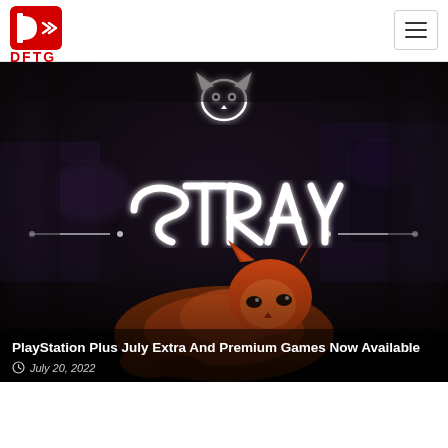DFTG
[Figure (photo): Hero image for the Stray video game article. A dark, moody cyberpunk scene with the STRAY game logo in white text and a glowing orange/brown cat lying in the foreground.]
PlayStation Plus July Extra And Premium Games Now Available
July 20, 2022